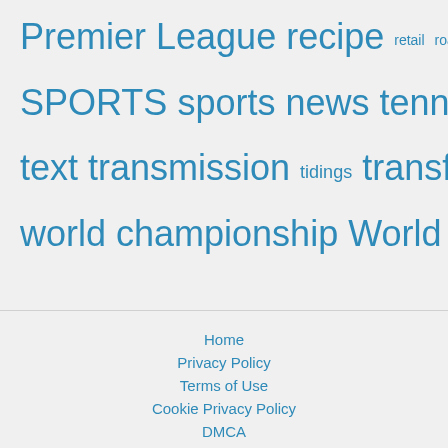Premier League recipe retail road repair
SPORTS sports news tennis
text transmission tidings transfers
world championship World Cup
Home
Privacy Policy
Terms of Use
Cookie Privacy Policy
DMCA